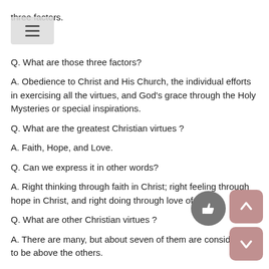three factors.
Q. What are those three factors?
A. Obedience to Christ and His Church, the individual efforts in exercising all the virtues, and God's grace through the Holy Mysteries or special inspirations.
Q. What are the greatest Christian virtues ?
A. Faith, Hope, and Love.
Q. Can we express it in other words?
A. Right thinking through faith in Christ; right feeling through hope in Christ, and right doing through love of Christ.
Q. What are other Christian virtues ?
A. There are many, but about seven of them are considered to be above the others.
Q. Which are those seven virtues ?